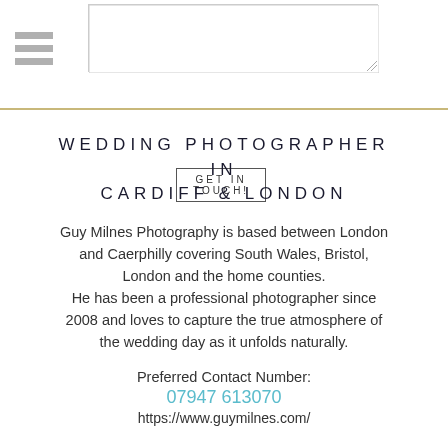[Figure (other): Hamburger menu icon (three horizontal lines) on the top left of the page]
[Figure (other): Text area input box (empty form field)]
GET IN TOUCH!
WEDDING PHOTOGRAPHER IN CARDIFF & LONDON
Guy Milnes Photography is based between London and Caerphilly covering South Wales, Bristol, London and the home counties. He has been a professional photographer since 2008 and loves to capture the true atmosphere of the wedding day as it unfolds naturally.
Preferred Contact Number:
07947 613070
https://www.guymilnes.com/